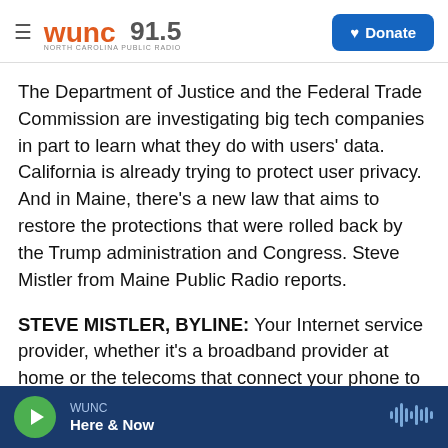WUNC 91.5 North Carolina Public Radio | Donate
The Department of Justice and the Federal Trade Commission are investigating big tech companies in part to learn what they do with users' data. California is already trying to protect user privacy. And in Maine, there's a new law that aims to restore the protections that were rolled back by the Trump administration and Congress. Steve Mistler from Maine Public Radio reports.
STEVE MISTLER, BYLINE: Your Internet service provider, whether it's a broadband provider at home or the telecoms that connect your phone to the Web, can see almost all of the unencrypted
WUNC | Here & Now